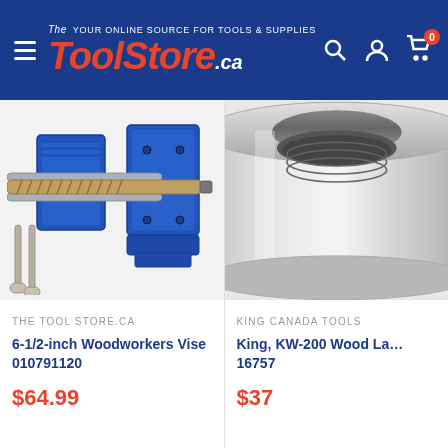The ToolStore.ca — YOUR ONLINE SOURCE FOR TOOLS & SUPPLIES
[Figure (photo): Blue cast-iron 6-1/2-inch woodworkers vise with threaded rod and guide bars]
THE TOOL STORE.CA
6-1/2-inch Woodworkers Vise 010791120
$64.99
[Figure (photo): Silver/grey steel cylindrical lathe collar or bushing, partially visible, cut off on right]
KING CANADA TOOLS
King, KW-200 Wood La... 16757
$37